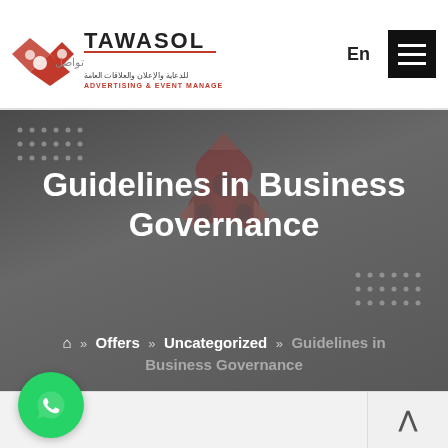TAWASOL Advertising & Event Management — En [menu]
[Figure (logo): TAWASOL logo with Arabic text and red diamond shapes, subtitle: Advertising & Event Management]
Guidelines in Business Governance
Home » Offers » Uncategorized » Guidelines in Business Governance